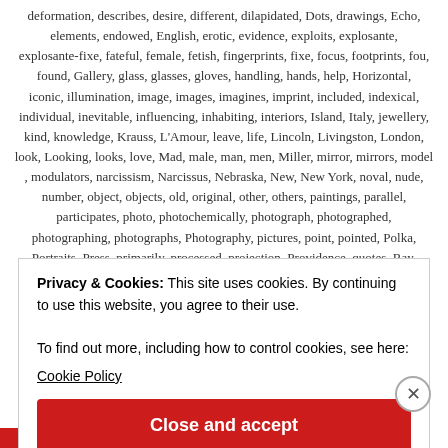deformation, describes, desire, different, dilapidated, Dots, drawings, Echo, elements, endowed, English, erotic, evidence, exploits, explosante, explosante-fixe, fateful, female, fetish, fingerprints, fixe, focus, footprints, fou, found, Gallery, glass, glasses, gloves, handling, hands, help, Horizontal, iconic, illumination, image, images, imagines, imprint, included, indexical, individual, inevitable, influencing, inhabiting, interiors, Island, Italy, jewellery, kind, knowledge, Krauss, L'Amour, leave, life, Lincoln, Livingston, London, look, Looking, looks, love, Mad, male, man, men, Miller, mirror, mirrors, model, modulators, narcissism, Narcissus, Nebraska, New, New York, noval, nude, number, object, objects, old, original, other, others, paintings, parallel, participates, photo, photochemically, photograph, photographed, photographing, photographs, Photography, pictures, point, pointed, Polka, Portraits, Press, primarily, processed, projection, Providence, quotes, Ray,
Privacy & Cookies: This site uses cookies. By continuing to use this website, you agree to their use.
To find out more, including how to control cookies, see here:
Cookie Policy
Close and accept